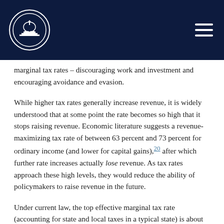[Navigation header with logo and menu icon]
marginal tax rates – discouraging work and investment and encouraging avoidance and evasion.
While higher tax rates generally increase revenue, it is widely understood that at some point the rate becomes so high that it stops raising revenue. Economic literature suggests a revenue-maximizing tax rate of between 63 percent and 73 percent for ordinary income (and lower for capital gains),20 after which further rate increases actually lose revenue. As tax rates approach these high levels, they would reduce the ability of policymakers to raise revenue in the future.
Under current law, the top effective marginal tax rate (accounting for state and local taxes in a typical state) is about 48 percent. That rate would rise to 69 percent with a 32 percent payroll tax hike (the increase is smaller than the tax due to interactions with